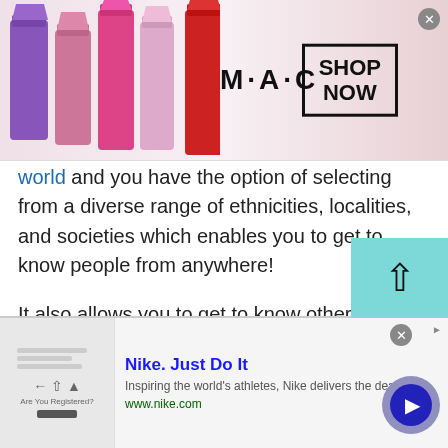[Figure (screenshot): MAC cosmetics advertisement banner showing colorful lipsticks on the left, MAC logo in center, and a 'SHOP NOW' box on the right with a red lipstick]
world and you have the option of selecting from a diverse range of ethnicities, localities, and societies which enables you to get to know people from anywhere!
It also allows you to get to know other cultures and look at the world from a new perspective. Think of it like travelling, but through a digital platform. Although you don't get to see new destinations every day like you would on a vacation, you are meeting new people and learning about other cultures.
[Figure (screenshot): Nike advertisement: 'Nike. Just Do It' with tagline 'Inspiring the world's athletes, Nike delivers the deals' and www.nike.com URL, with a play button on the right]